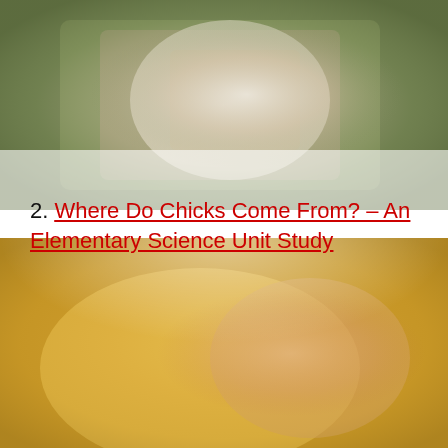[Figure (photo): Blurred photograph of a hen or chick in an outdoor/natural setting, with green and brown tones, partially white in center.]
2. Where Do Chicks Come From? – An Elementary Science Unit Study
[Figure (photo): Blurred photograph of a yellow baby chick, golden/orange tones, with a pinkish blurred subject visible behind.]